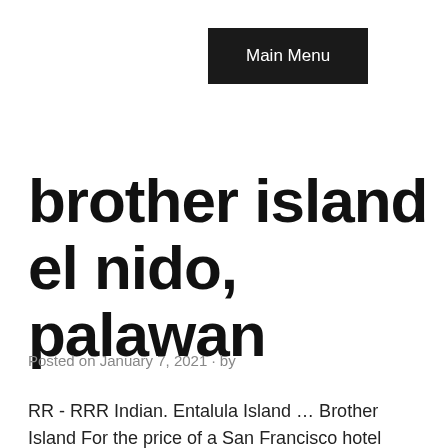Main Menu
brother island el nido, palawan
Posted on January 7, 2021 · by
RR - RRR Indian. Entalula Island … Brother Island For the price of a San Francisco hotel room, you can lock in a stay at a seven-bedroom, two-bath